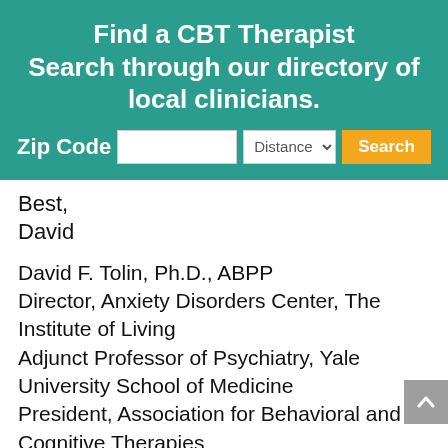Find a CBT Therapist
Search through our directory of local clinicians.
Best,
David
David F. Tolin, Ph.D., ABPP
Director, Anxiety Disorders Center, The Institute of Living
Adjunct Professor of Psychiatry, Yale University School of Medicine
President, Association for Behavioral and Cognitive Therapies
Phone: 860-545-7685
Fax: 860-545-7156